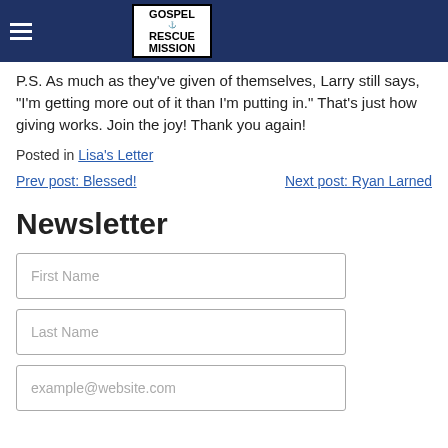Gospel Rescue Mission
P.S. As much as they've given of themselves, Larry still says, “I’m getting more out of it than I’m putting in.” That’s just how giving works. Join the joy! Thank you again!
Posted in Lisa’s Letter
Prev post: Blessed!   Next post: Ryan Larned
Newsletter
First Name
Last Name
example@website.com